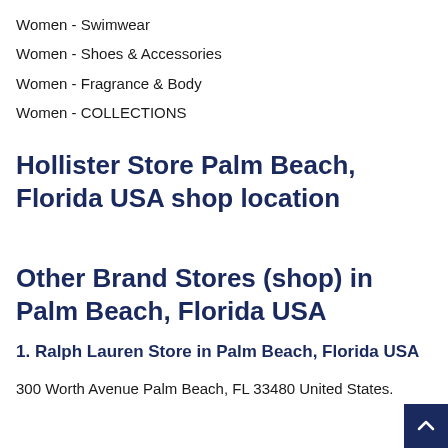Women - Swimwear
Women - Shoes & Accessories
Women - Fragrance & Body
Women - COLLECTIONS
Hollister Store Palm Beach, Florida USA shop location
Other Brand Stores (shop) in Palm Beach, Florida USA
1. Ralph Lauren Store in Palm Beach, Florida USA
300 Worth Avenue Palm Beach, FL 33480 United States.